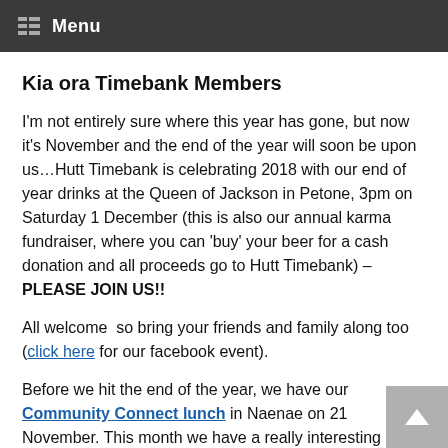Menu
Kia ora Timebank Members
I'm not entirely sure where this year has gone, but now it's November and the end of the year will soon be upon us…Hutt Timebank is celebrating 2018 with our end of year drinks at the Queen of Jackson in Petone, 3pm on Saturday 1 December (this is also our annual karma fundraiser, where you can 'buy' your beer for a cash donation and all proceeds go to Hutt Timebank) – PLEASE JOIN US!!
All welcome  so bring your friends and family along too (click here for our facebook event).
Before we hit the end of the year, we have our Community Connect lunch in Naenae on 21 November. This month we have a really interesting speaker – Lauren from Trade School Kitchen will be coming along to tell us about their new cafe in Naenae